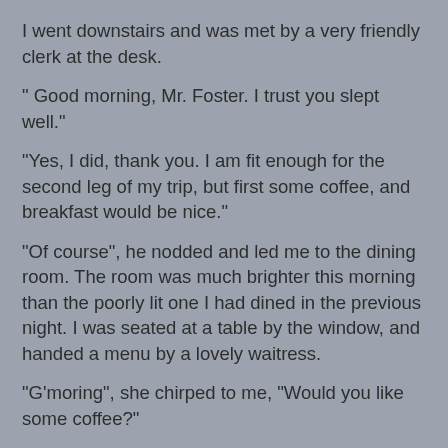I went downstairs and was met by a very friendly clerk at the desk.
" Good morning, Mr. Foster. I trust you slept well."
"Yes, I did, thank you. I am fit enough for the second leg of my trip, but first some coffee, and breakfast would be nice."
"Of course", he nodded and led me to the dining room. The room was much brighter this morning than the poorly lit one I had dined in the previous night. I was seated at a table by the window, and handed a menu by a lovely waitress.
"G'moring", she chirped to me, "Would you like some coffee?"
"Yes, please. I feel very good this morning, and may even attempt to complete my trip to Albany today."
"You will certainly avoid others on the road by traveling on a Sunday."